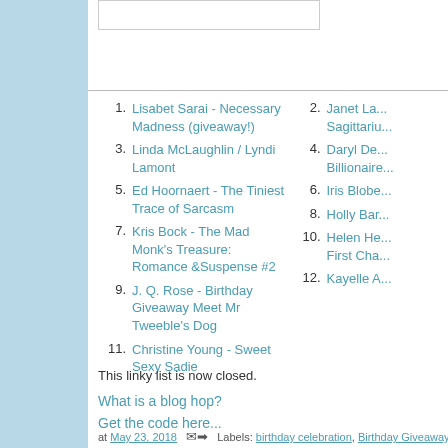1. Lisabet Sarai - Necessary Madness (giveaway!)
2. Janet La... Sagittariu...
3. Linda McLaughlin / Lyndi Lamont
4. Daryl De... Billionaire...
5. Ed Hoornaert - The Tiniest Trace of Sarcasm
6. Iris Blobe...
7. Kris Bock - The Mad Monk's Treasure: Romance &Suspense #2
8. Holly Bar...
9. J. Q. Rose - Birthday Giveaway Meet Mr Tweeble's Dog
10. Helen He... First Cha...
11. Christine Young - Sweet Sexy Sadie
12. Kayelle A...
This linky list is now closed.
What is a blog hop?
Get the code here...
at May 23, 2018   Labels: birthday celebration, Birthday Giveaway, birthday grab bag, Book H... Jingles Mr. Tweeble's Dog #MFRWHooks, Terror on Sunshine Boulevard